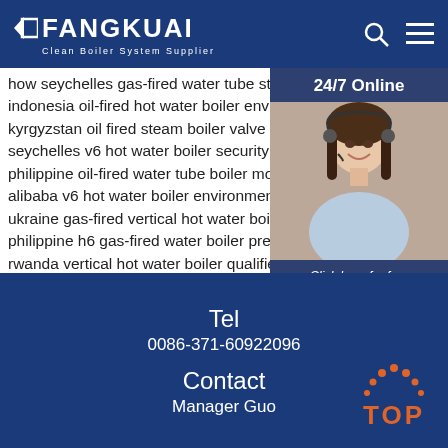FANGKUAI - Clean Boiler System Supplier
how seychelles gas-fired water tube steam boiler
indonesia oil-fired hot water boiler environmental
kyrgyzstan oil fired steam boiler valve
seychelles v6 hot water boiler security protection
philippine oil-fired water tube boiler model
alibaba v6 hot water boiler environmental protec
ukraine gas-fired vertical hot water boiler issues
philippine h6 gas-fired water boiler pressure
rwanda vertical hot water boiler qualified rate
singapore gas integrated steam boiler flue pipe
alibaba oil split hot water boiler mixing valve
belarus oil-fired hot water boiler energy saving
[Figure (photo): Customer service agent woman with headset smiling, with '24/7 Online' banner and 'Click here for free chat!' text and QUOTATION button]
Tel
0086-371-60922096
Contact
Manager Guo
[Figure (illustration): TOP button with orange dots forming arc above letters TOP in orange]